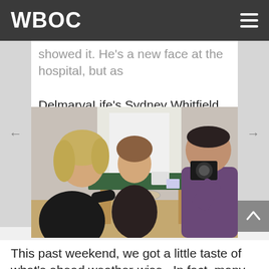WBOC
showed it. He's a new face at the hospital, but as DelmarvaLife's Sydney Whitfield found out, once you meet him, it's like you've known him your entire life.
[Figure (photo): Three people around a small wooden table; a woman with blond hair sits on the left getting her nails done, a person with light brown hair sits across from her, and a man in a purple shirt leans over filming with a camera. The table has a green mat, small items, and a round dish.]
This past weekend, we got a little taste of what's ahead weather-wise.  In fact, many busted out their